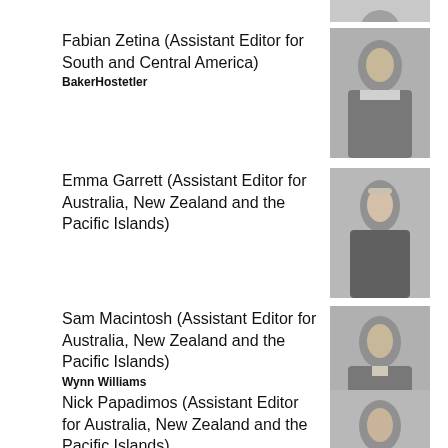[Figure (photo): Partial headshot of a person in suit, top portion cut off at top of page]
Fabian Zetina (Assistant Editor for South and Central America)
BakerHostetler
[Figure (photo): Headshot of Fabian Zetina in a suit and tie]
Emma Garrett (Assistant Editor for Australia, New Zealand and the Pacific Islands)
[Figure (photo): Headshot of Emma Garrett in dark jacket]
Sam Macintosh (Assistant Editor for Australia, New Zealand and the Pacific Islands)
Wynn Williams
[Figure (photo): Headshot of Sam Macintosh in suit and tie]
Nick Papadimos (Assistant Editor for Australia, New Zealand and the Pacific Islands)
[Figure (photo): Headshot of Nick Papadimos in suit, partially cut off at bottom]